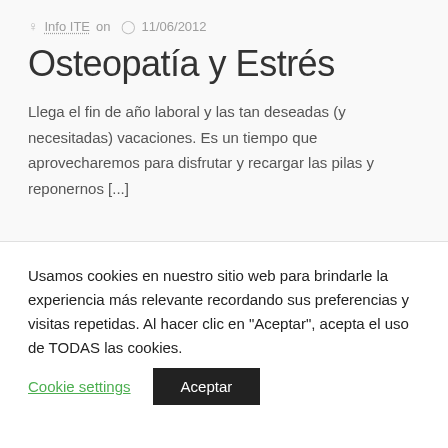Info ITE on  11/06/2012
Osteopatía y Estrés
Llega el fin de año laboral y las tan deseadas (y necesitadas) vacaciones. Es un tiempo que aprovecharemos para disfrutar y recargar las pilas y reponernos [...]
Usamos cookies en nuestro sitio web para brindarle la experiencia más relevante recordando sus preferencias y visitas repetidas. Al hacer clic en "Aceptar", acepta el uso de TODAS las cookies.
Cookie settings
Aceptar